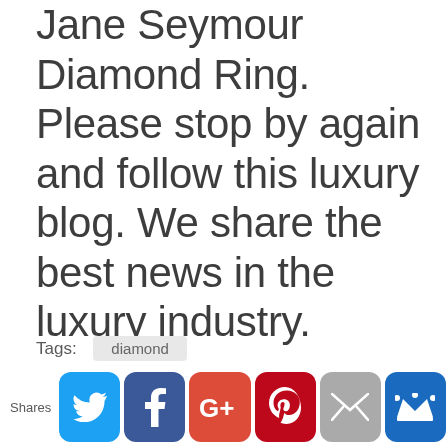Jane Seymour Diamond Ring. Please stop by again and follow this luxury blog. We share the best news in the luxury industry.
Photos: World of Diamonds
Tags: diamond
Shares